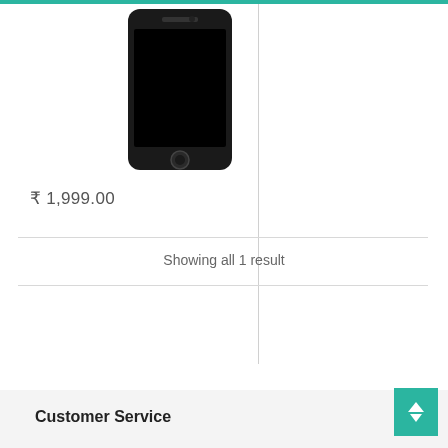[Figure (photo): Black iPhone 5 screen/LCD replacement part shown from front, against white background]
₹ 1,999.00
Showing all 1 result
Customer Service